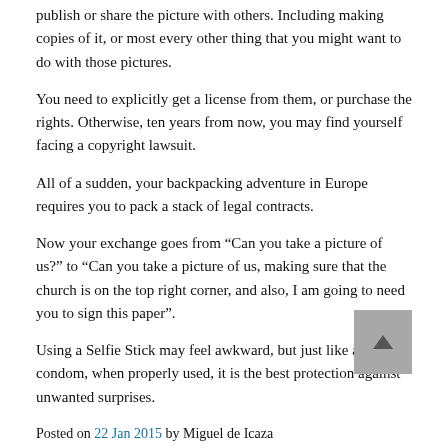publish or share the picture with others. Including making copies of it, or most every other thing that you might want to do with those pictures.
You need to explicitly get a license from them, or purchase the rights. Otherwise, ten years from now, you may find yourself facing a copyright lawsuit.
All of a sudden, your backpacking adventure in Europe requires you to pack a stack of legal contracts.
Now your exchange goes from “Can you take a picture of us?” to “Can you take a picture of us, making sure that the church is on the top right corner, and also, I am going to need you to sign this paper”.
Using a Selfie Stick may feel awkward, but just like a condom, when properly used, it is the best protection against unwanted surprises.
Posted on 22 Jan 2015 by Miguel de Icaza
Another article by Martin Parr
http://www.martinparr.com/2015/the-selfie-stick/